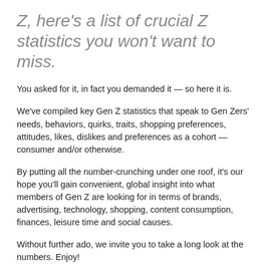Z, here's a list of crucial Z statistics you won't want to miss.
You asked for it, in fact you demanded it — so here it is.
We've compiled key Gen Z statistics that speak to Gen Zers' needs, behaviors, quirks, traits, shopping preferences, attitudes, likes, dislikes and preferences as a cohort — consumer and/or otherwise.
By putting all the number-crunching under one roof, it's our hope you'll gain convenient, global insight into what members of Gen Z are looking for in terms of brands, advertising, technology, shopping, content consumption, finances, leisure time and social causes.
Without further ado, we invite you to take a long look at the numbers. Enjoy!